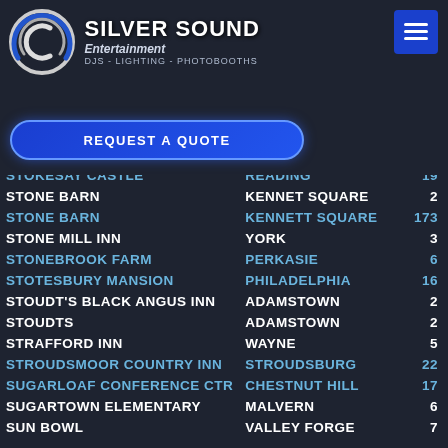[Figure (logo): Silver Sound Entertainment logo with circular graphic, text 'SILVER SOUND Entertainment DJS - LIGHTING - PHOTOBOOTHS']
REQUEST A QUOTE
| Venue | City | Count |
| --- | --- | --- |
| STOKESAY CASTLE | READING | 19 |
| STONE BARN | KENNET SQUARE | 2 |
| STONE BARN | KENNETT SQUARE | 173 |
| STONE MILL INN | YORK | 3 |
| STONEBROOK FARM | PERKASIE | 6 |
| STOTESBURY MANSION | PHILADELPHIA | 16 |
| STOUDT'S BLACK ANGUS INN | ADAMSTOWN | 2 |
| STOUDTS | ADAMSTOWN | 2 |
| STRAFFORD INN | WAYNE | 5 |
| STROUDSMOOR COUNTRY INN | STROUDSBURG | 22 |
| SUGARLOAF CONFERENCE CTR | CHESTNUT HILL | 17 |
| SUGARTOWN ELEMENTARY | MALVERN | 6 |
| SUN BOWL | VALLEY FORGE | 7 |